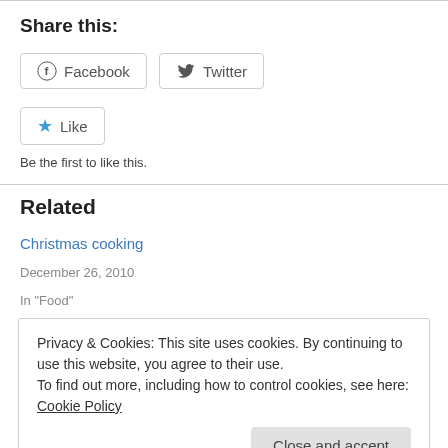Share this:
[Figure (other): Facebook and Twitter social sharing buttons]
[Figure (other): Like button with blue star icon]
Be the first to like this.
Related
Christmas cooking
December 26, 2010
In "Food"
Privacy & Cookies: This site uses cookies. By continuing to use this website, you agree to their use.
To find out more, including how to control cookies, see here: Cookie Policy
In "Food"